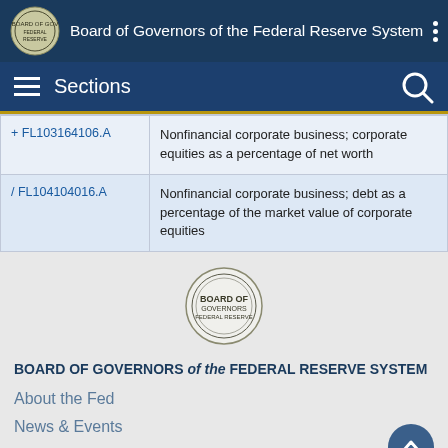Board of Governors of the Federal Reserve System
| Code | Description |
| --- | --- |
| + FL103164106.A | Nonfinancial corporate business; corporate equities as a percentage of net worth |
| / FL104104016.A | Nonfinancial corporate business; debt as a percentage of the market value of corporate equities |
[Figure (logo): Federal Reserve Board of Governors circular seal]
BOARD OF GOVERNORS of the FEDERAL RESERVE SYSTEM
About the Fed
News & Events
Monetary Policy